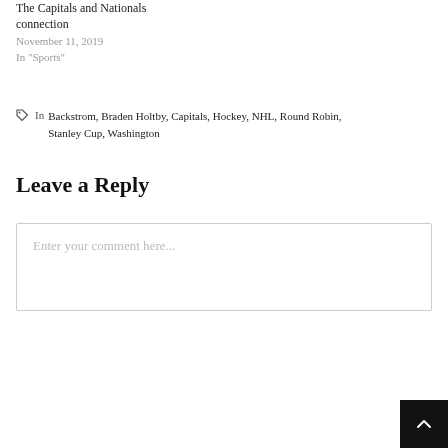The Capitals and Nationals connection
November 11, 2019
In "Sports"
In  Backstrom, Braden Holtby, Capitals, Hockey, NHL, Round Robin, Stanley Cup, Washington
Leave a Reply
Enter your comment here...